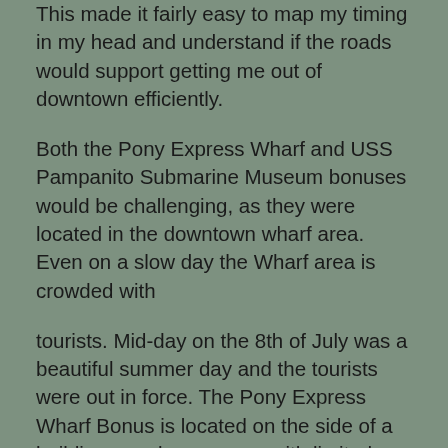This made it fairly easy to map my timing in my head and understand if the roads would support getting me out of downtown efficiently.

Both the Pony Express Wharf and USS Pampanito Submarine Museum bonuses would be challenging, as they were located in the downtown wharf area. Even on a slow day the Wharf area is crowded with

tourists. Mid-day on the 8th of July was a beautiful summer day and the tourists were out in force. The Pony Express Wharf Bonus is located on the side of a building on a busy corner with limited parking available. It's a good thing I'm on the Ninja and I slide between two parked cars hop of the bike and head the 50 feet to the corner to get the photo. A parking enforcement Officer in her electric tricycle gave me a funny look but continued marking cars and passed me by. Excellent I really wasn't sure how'd she'd react to my snuggling between two cars. I got to the corner located the sign and needed to figure out how to get the shot. As I was standing there another rider pulled up. I asked him if he'd take the shot for me. Finally I was able to keep the wind from blowing my flag around we got the shot and I headed to the USS Pampanito Submarine Museum, located in the heart of Pier 39. Traffic on the pier was tight as always but not too bad. I was able to keep moving until I was about a block away before things really slowed. Going slow at this point wasn't a bad